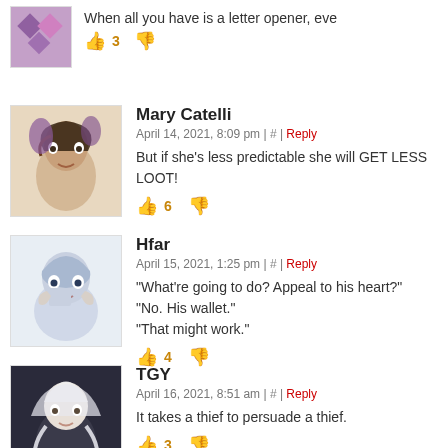When all you have is a letter opener, eve
👍 3 👎
Mary Catelli
April 14, 2021, 8:09 pm | # | Reply
But if she's less predictable she will GET LESS LOOT!
👍 6 👎
Hfar
April 15, 2021, 1:25 pm | # | Reply
"What're going to do? Appeal to his heart?"
"No. His wallet."
"That might work."
👍 4 👎
TGY
April 16, 2021, 8:51 am | # | Reply
It takes a thief to persuade a thief.
👍 3 👎